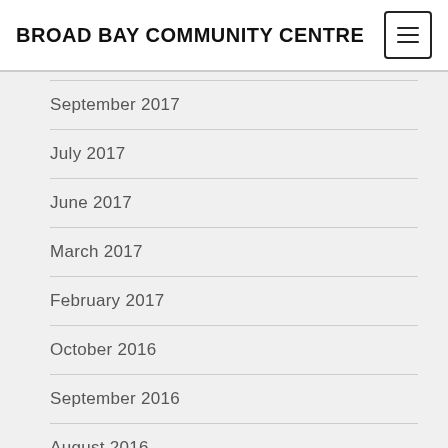BROAD BAY COMMUNITY CENTRE
September 2017
July 2017
June 2017
March 2017
February 2017
October 2016
September 2016
August 2016
July 2016
June 2016